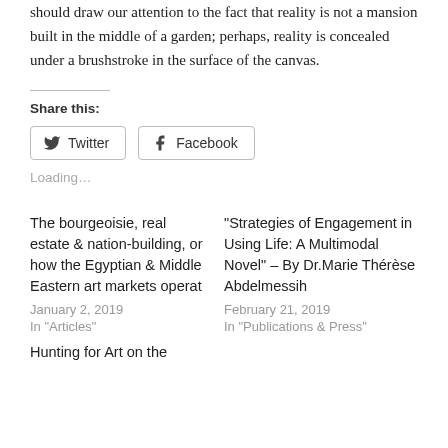should draw our attention to the fact that reality is not a mansion built in the middle of a garden; perhaps, reality is concealed under a brushstroke in the surface of the canvas.
Share this:
[Figure (other): Twitter and Facebook share buttons]
Loading…
The bourgeoisie, real estate & nation-building, or how the Egyptian & Middle Eastern art markets operat
January 2, 2019
In "Articles"
“Strategies of Engagement in Using Life: A Multimodal Novel” – By Dr.Marie Thérèse Abdelmessih
February 21, 2019
In "Publications & Press"
Hunting for Art on the